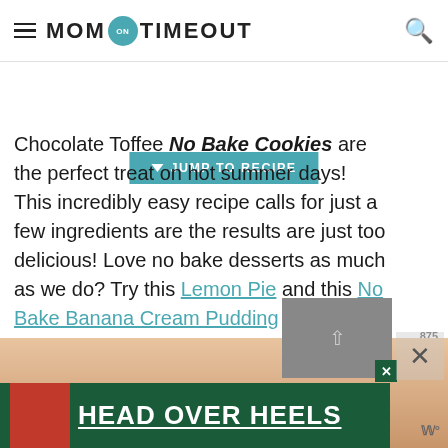MOM ON TIMEOUT
JUMP TO RECIPE
Chocolate Toffee No Bake Cookies are the perfect treat on hot summer days! This incredibly easy recipe calls for just a few ingredients are the results are just too delicious! Love no bake desserts as much as we do? Try this Lemon Pie and this No Bake Banana Cream Pudding Cheesecake - outrageously good!
[Figure (photo): Bottom portion showing a blurred food photo with a dark green advertisement banner reading HEAD OVER HEELS with a dog image on the left side.]